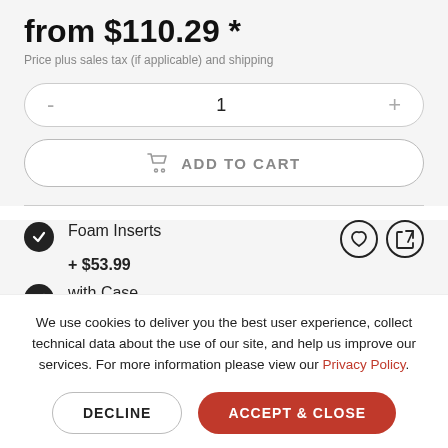from $110.29 *
Price plus sales tax (if applicable) and shipping
[Figure (screenshot): Quantity selector control with minus and plus buttons showing value 1]
[Figure (screenshot): Add to cart button with cart icon]
Foam Inserts + $53.99
with Case + $56.30
We use cookies to deliver you the best user experience, collect technical data about the use of our site, and help us improve our services. For more information please view our Privacy Policy.
DECLINE
ACCEPT & CLOSE